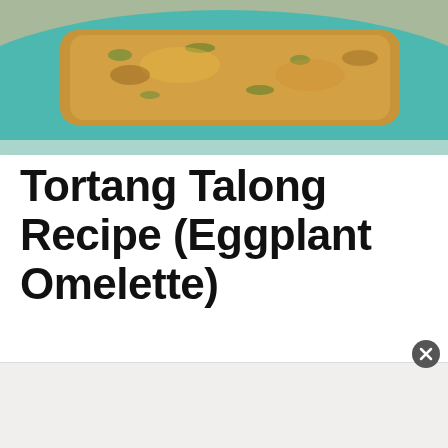[Figure (photo): A photo of a cooked eggplant omelette (Tortang Talong) on a plate, with a 'Recipe' watermark in the lower right corner. The dish appears golden-brown and crispy.]
Tortang Talong Recipe (Eggplant Omelette)
Joost Nusselder
So it isn't a surprise that Eggplant Omellete or Tortang Talong is one of the most loved breakfast dishes which is served with fried rice plus catsup on the side. Some also call it Eggplant Fritters.